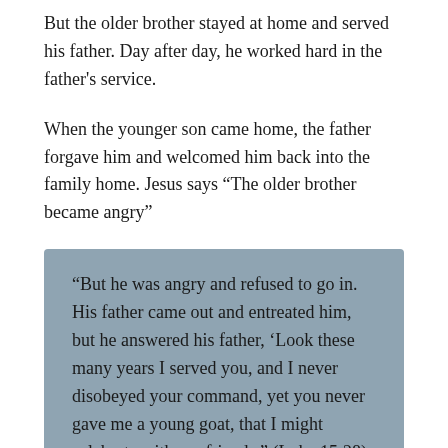But the older brother stayed at home and served his father. Day after day, he worked hard in the father’s service.
When the younger son came home, the father forgave him and welcomed him back into the family home. Jesus says “The older brother became angry”
“But he was angry and refused to go in. His father came out and entreated him, but he answered his father, ‘Look these many years I served you, and I never disobeyed your command, yet you never gave me a young goat, that I might celebrate with my friends.” (Luke 15:28)
The older brother is not angry with the younger